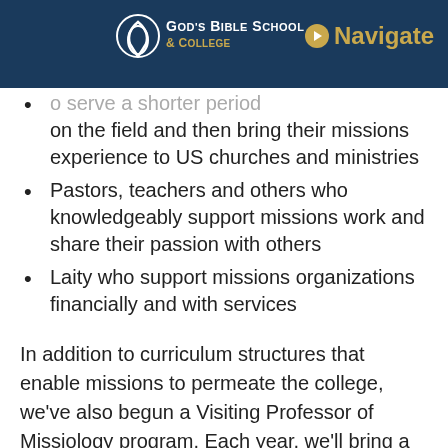God's Bible School & College | Navigate
to serve a shorter period on the field and then bring their missions experience to US churches and ministries
Pastors, teachers and others who knowledgeably support missions work and share their passion with others
Laity who support missions organizations financially and with services
In addition to curriculum structures that enable missions to permeate the college, we've also begun a Visiting Professor of Missiology program. Each year, we'll bring a current or recent missionary or missions